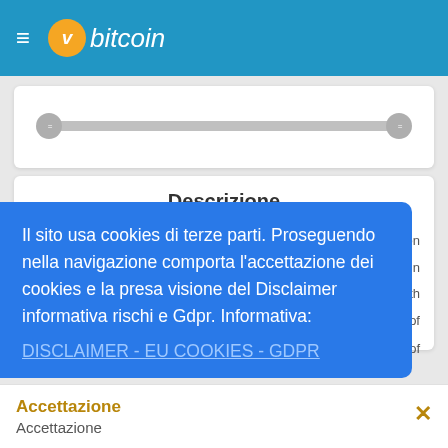vbitcoin
[Figure (screenshot): A range slider UI component with two circular gray handles on a gray track bar]
Descrizione
Il sito usa cookies di terze parti. Proseguendo nella navigazione comporta l'accettazione dei cookies e la presa visione del Disclaimer informativa rischi e Gdpr. Informativa: DISCLAIMER - EU COOKIES - GDPR
Accettazione
Accettazione